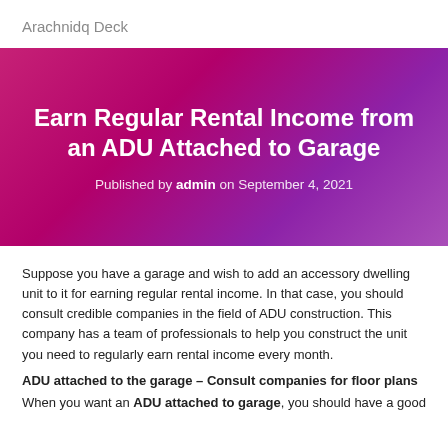Arachnidq Deck
[Figure (illustration): Hero banner with magenta-to-purple gradient background containing article title and publication metadata]
Earn Regular Rental Income from an ADU Attached to Garage
Published by admin on September 4, 2021
Suppose you have a garage and wish to add an accessory dwelling unit to it for earning regular rental income. In that case, you should consult credible companies in the field of ADU construction. This company has a team of professionals to help you construct the unit you need to regularly earn rental income every month.
ADU attached to the garage – Consult companies for floor plans
When you want an ADU attached to garage, you should have a good